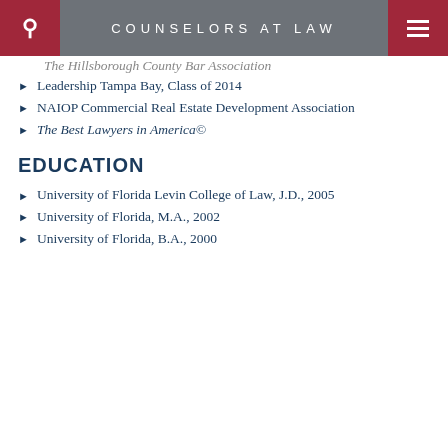COUNSELORS AT LAW
The Hillsborough County Bar Association
Leadership Tampa Bay, Class of 2014
NAIOP Commercial Real Estate Development Association
The Best Lawyers in America©
EDUCATION
University of Florida Levin College of Law, J.D., 2005
University of Florida, M.A., 2002
University of Florida, B.A., 2000